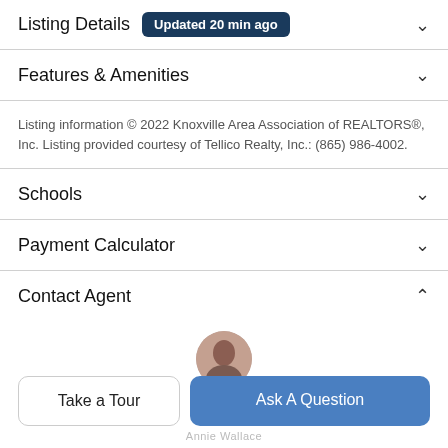Listing Details  Updated 20 min ago
Features & Amenities
Listing information © 2022 Knoxville Area Association of REALTORS®, Inc. Listing provided courtesy of Tellico Realty, Inc.: (865) 986-4002.
Schools
Payment Calculator
Contact Agent
[Figure (photo): Partial view of agent profile photo (circular headshot, cropped at bottom)]
Annie Wallace
Take a Tour
Ask A Question